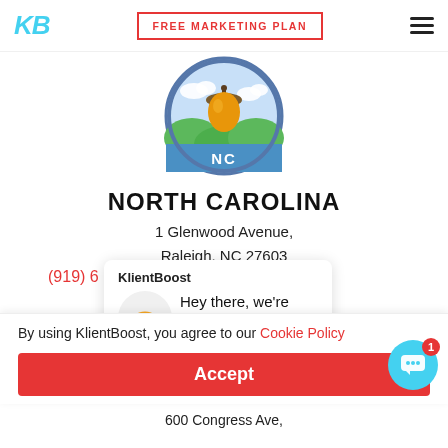KB | FREE MARKETING PLAN | (hamburger menu)
[Figure (logo): North Carolina state icon: circular badge with acorn, clouds, green hills, and 'NC' text on blue background]
NORTH CAROLINA
1 Glenwood Avenue,
Raleigh, NC 27603
(919) 6
KlientBoost
Hey there, we're seeing some marketing...
By using KlientBoost, you agree to our Cookie Policy
Accept
600 Congress Ave,